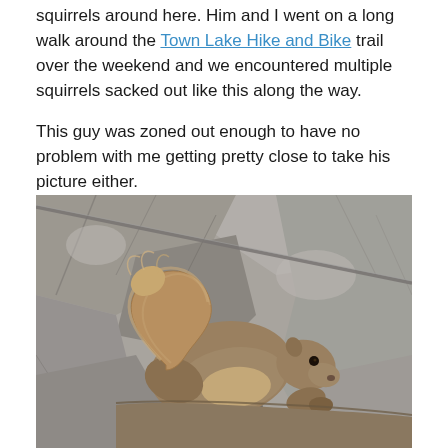squirrels around here. Him and I went on a long walk around the Town Lake Hike and Bike trail over the weekend and we encountered multiple squirrels sacked out like this along the way.

This guy was zoned out enough to have no problem with me getting pretty close to take his picture either.
[Figure (photo): A squirrel resting/sleeping on a tree trunk, photographed up close. The squirrel is grey-brown with a bushy tail, curled against rough grey tree bark. A thin branch or wire crosses diagonally in the upper portion of the image.]